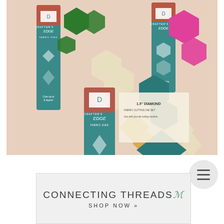[Figure (photo): Photo of Crafter's Edge fabric dies packaging with teal/green packaging cards showing hexagon and diamond shapes, along with cut fabric pieces in green, cream, teal, pink, and gold/yellow colors arranged on a light surface]
[Figure (other): Round grey hamburger menu button with three horizontal lines]
CONNECTING THREADS/ SHOP NOW »